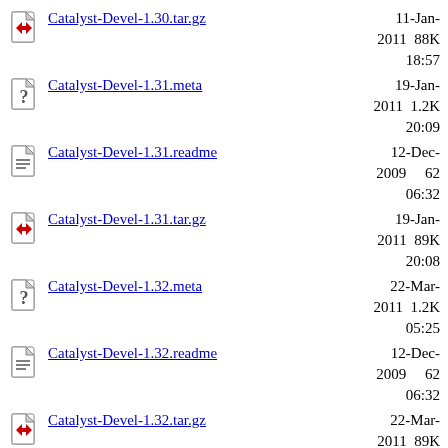Catalyst-Devel-1.30.tar.gz  11-Jan-2011 18:57  88K
Catalyst-Devel-1.31.meta  19-Jan-2011 20:09  1.2K
Catalyst-Devel-1.31.readme  12-Dec-2009 06:32  62
Catalyst-Devel-1.31.tar.gz  19-Jan-2011 20:08  89K
Catalyst-Devel-1.32.meta  22-Mar-2011 05:25  1.2K
Catalyst-Devel-1.32.readme  12-Dec-2009 06:32  62
Catalyst-Devel-1.32.tar.gz  22-Mar-2011 05:23  89K
Catalyst-Devel-1.34.meta  16-Aug-2011  1.2K